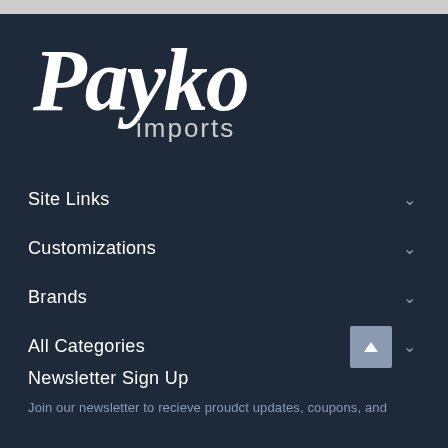[Figure (logo): Paykoç imports logo in white italic text on dark navy background]
Site Links
Customizations
Brands
All Categories
Newsletter Sign Up
Join our newsletter to recieve proudct updates, coupons, and